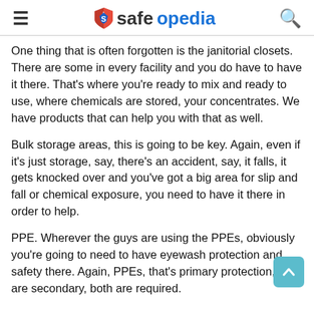safeopedia
One thing that is often forgotten is the janitorial closets. There are some in every facility and you do have to have it there. That's where you're ready to mix and ready to use, where chemicals are stored, your concentrates. We have products that can help you with that as well.
Bulk storage areas, this is going to be key. Again, even if it's just storage, say, there's an accident, say, it falls, it gets knocked over and you've got a big area for slip and fall or chemical exposure, you need to have it there in order to help.
PPE. Wherever the guys are using the PPEs, obviously you're going to need to have eyewash protection and safety there. Again, PPEs, that's primary protection, ours are secondary, both are required.